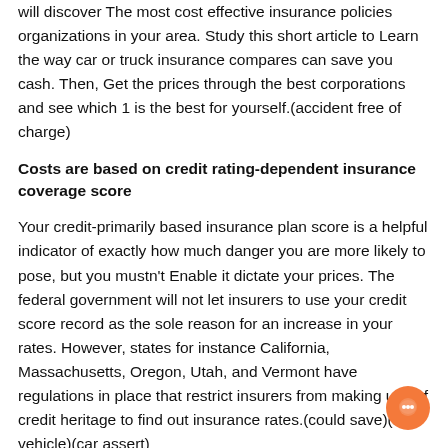will discover The most cost effective insurance policies organizations in your area. Study this short article to Learn the way car or truck insurance compares can save you cash. Then, Get the prices through the best corporations and see which 1 is the best for yourself.(accident free of charge)
Costs are based on credit rating-dependent insurance coverage score
Your credit-primarily based insurance plan score is a helpful indicator of exactly how much danger you are more likely to pose, but you mustn't Enable it dictate your prices. The federal government will not let insurers to use your credit score record as the sole reason for an increase in your rates. However, states for instance California, Massachusetts, Oregon, Utah, and Vermont have regulations in place that restrict insurers from making use of credit heritage to find out insurance rates.(could save)(new vehicle)(car assert)
However, such a insurance policies isn't going to apply to each point out, so individuals have no way to ascertain if a